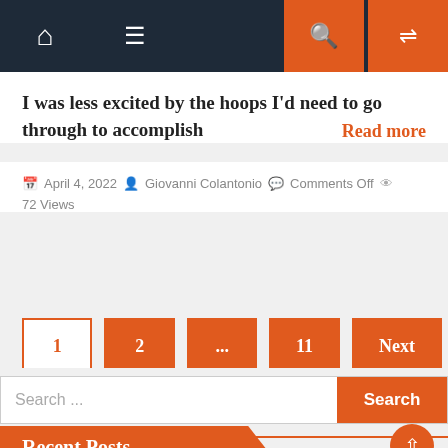Navigation bar with home, menu, search, shuffle icons
I was less excited by the hoops I'd need to go through to accomplish
Read more
April 4, 2022  Giovanni Colantonio  Comments Off  72 Views
Pagination: 1 2 ... 11 Next
Search ...
Recent Posts
The voice behind Halo's Cortana reflects on the character's